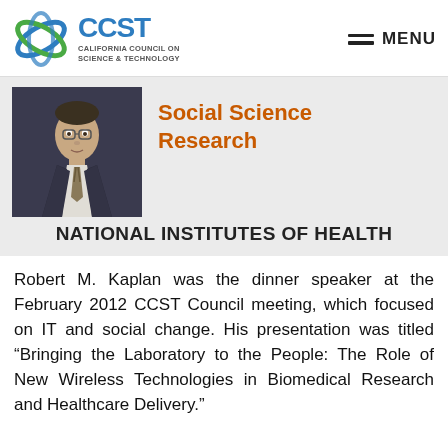CCST — CALIFORNIA COUNCIL ON SCIENCE & TECHNOLOGY | MENU
[Figure (photo): Portrait photo of Robert M. Kaplan, a man in a dark suit and tie]
Social Science Research
NATIONAL INSTITUTES OF HEALTH
Robert M. Kaplan was the dinner speaker at the February 2012 CCST Council meeting, which focused on IT and social change. His presentation was titled “Bringing the Laboratory to the People: The Role of New Wireless Technologies in Biomedical Research and Healthcare Delivery."